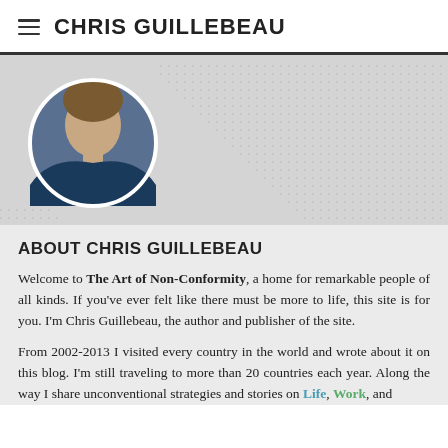CHRIS GUILLEBEAU
[Figure (photo): Circular profile photo of Chris Guillebeau, a man with medium-length hair wearing a dark navy sweater, smiling, with a blurred outdoor background. Displayed over a world map dot pattern on a grey hero banner.]
ABOUT CHRIS GUILLEBEAU
Welcome to The Art of Non-Conformity, a home for remarkable people of all kinds. If you've ever felt like there must be more to life, this site is for you. I'm Chris Guillebeau, the author and publisher of the site.
From 2002-2013 I visited every country in the world and wrote about it on this blog. I'm still traveling to more than 20 countries each year. Along the way I share unconventional strategies and stories on Life, Work, and